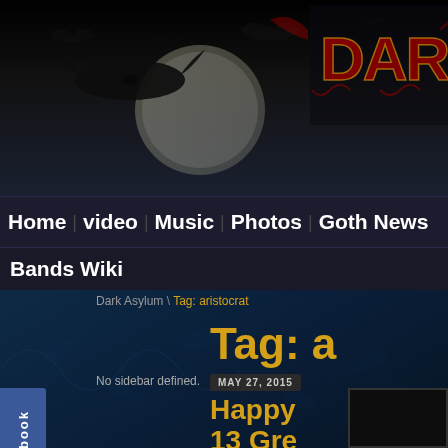[Figure (screenshot): Dark gothic website header banner with bats silhouette and red gothic logo text 'DAR' visible on dark background with moon]
Home   video   Music   Photos   Goth News
Bands Wiki
Dark Asylum \ Tag: aristocrat
No sidebar defined.
Tag: a
MAY 27, 2015
Happy 13 Gre